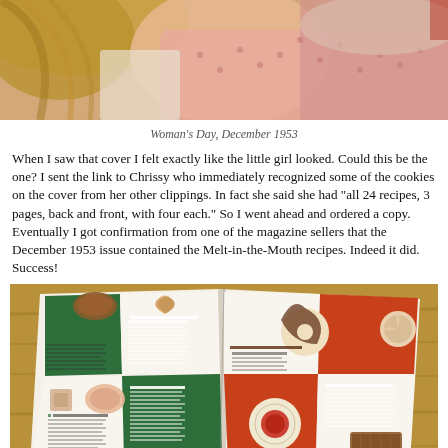[Figure (photo): Close-up photograph of a young girl with blonde hair, holding or looking at something, wearing a pink dotted fabric garment, from the cover of Woman's Day magazine December 1953.]
Woman's Day, December 1953
When I saw that cover I felt exactly like the little girl looked. Could this be the one? I sent the link to Chrissy who immediately recognized some of the cookies on the cover from her other clippings. In fact she said she had "all 24 recipes, 3 pages, back and front, with four each." So I went ahead and ordered a copy. Eventually I got confirmation from one of the magazine sellers that the December 1953 issue contained the Melt-in-the-Mouth recipes. Indeed it did. Success!
[Figure (photo): Photograph of an open magazine spread showing the Melt-in-the-Mouth cookie recipes with a green, white, and orange/red checkerboard layout featuring photos of various cookies including pinwheels, butter rings, honey cookies, and other varieties, lying on a wooden surface.]